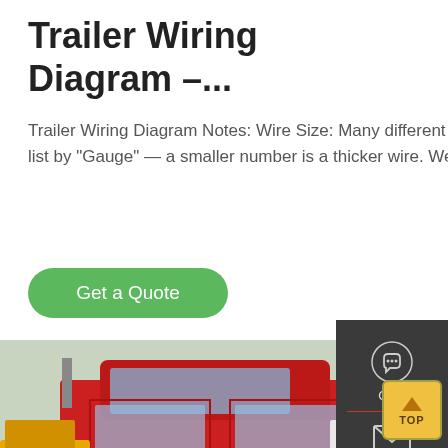Trailer Wiring Diagram –...
Trailer Wiring Diagram Notes: Wire Size: Many different sizes of wires are available. Typically wire sizes are list by "Gauge" — a smaller number is a thicker wire. We...
Get a Quote
[Figure (photo): A red semi-truck/tractor unit photographed in a truck yard, with other trucks and vehicles visible in the background. Trees and power lines are visible.]
[Figure (infographic): Sidebar with Chat icon, Email icon, and Contact icon on dark background. A TOP button with upward arrow is shown at bottom right.]